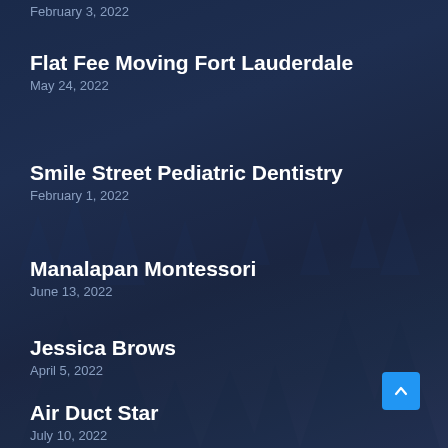February 3, 2022
Flat Fee Moving Fort Lauderdale
May 24, 2022
Smile Street Pediatric Dentistry
February 1, 2022
Manalapan Montessori
June 13, 2022
Jessica Brows
April 5, 2022
Air Duct Star
July 10, 2022